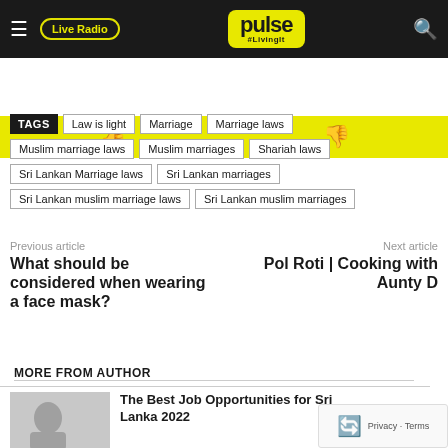pulse #LivingIt | Live Radio
[Figure (infographic): Yellow thumbs up and thumbs down icon bar]
TAGS  Law is light  Marriage  Marriage laws  Muslim marriage laws  Muslim marriages  Shariah laws  Sri Lankan Marriage laws  Sri Lankan marriages  Sri Lankan muslim marriage laws  Sri Lankan muslim marriages
Previous article  What should be considered when wearing a face mask?
Next article  Pol Roti | Cooking with Aunty D
RELATED ARTICLES
MORE FROM AUTHOR
The Best Job Opportunities for Sri Lanka 2022